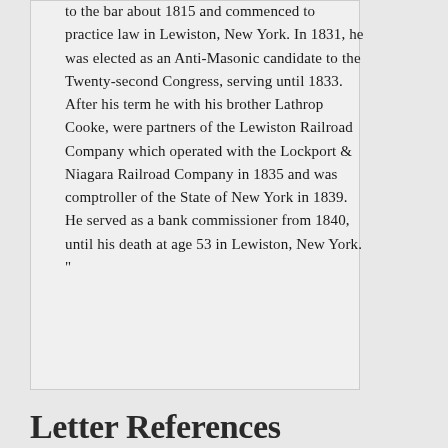to the bar about 1815 and commenced to practice law in Lewiston, New York. In 1831, he was elected as an Anti-Masonic candidate to the Twenty-second Congress, serving until 1833. After his term he with his brother Lathrop Cooke, were partners of the Lewiston Railroad Company which operated with the Lockport & Niagara Railroad Company in 1835 and was comptroller of the State of New York in 1839. He served as a bank commissioner from 1840, until his death at age 53 in Lewiston, New York. "
Letter References